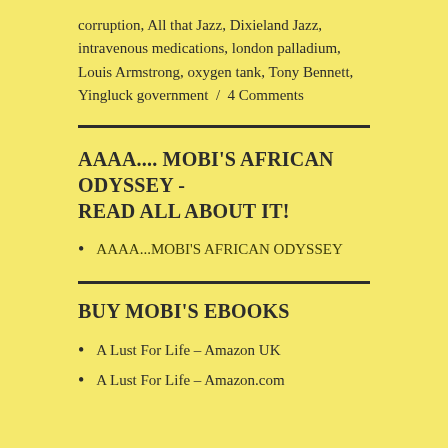corruption, All that Jazz, Dixieland Jazz, intravenous medications, london palladium, Louis Armstrong, oxygen tank, Tony Bennett, Yingluck government  /  4 Comments
AAAA.... MOBI'S AFRICAN ODYSSEY - READ ALL ABOUT IT!
AAAA...MOBI'S AFRICAN ODYSSEY
BUY MOBI'S EBOOKS
A Lust For Life – Amazon UK
A Lust For Life – Amazon.com